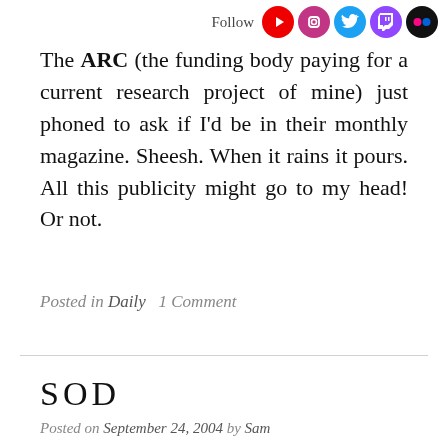Follow [YouTube] [Instagram] [Twitter] [Twitch] [Flickr]
The ARC (the funding body paying for a current research project of mine) just phoned to ask if I'd be in their monthly magazine. Sheesh. When it rains it pours. All this publicity might go to my head! Or not.
Posted in Daily  1 Comment
SOD
Posted on September 24, 2004 by Sam
People scoff when I claim that you can measure the law of Sod.
Yesterday morning I was running (well, cycling) late to catch the train (I, uh, were words). With th